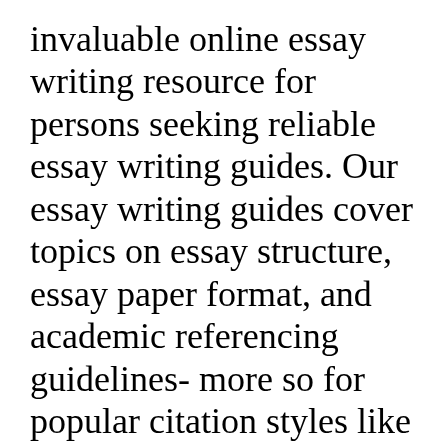invaluable online essay writing resource for persons seeking reliable essay writing guides. Our essay writing guides cover topics on essay structure, essay paper format, and academic referencing guidelines- more so for popular citation styles like APA, Harvard, and MLA.